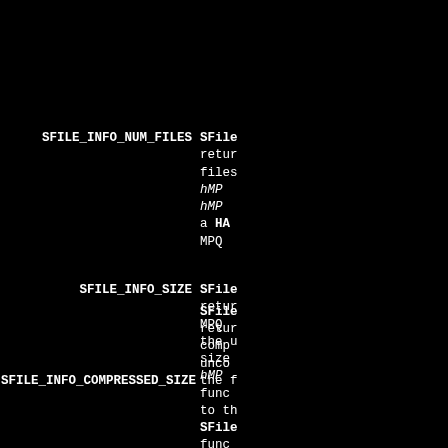for r... hMPQ... a HANDLE MPC...
SFILE_INFO_NUM_FILES
SFileGetFileInfo returns the number of files hMP... hMP... a HANDLE MPC...
SFILE_INFO_SIZE
SFileGetFileInfo returns the MPC... the u... size hMP... func... to th... SFile... func... can b... HANDLE or a insid...
SFILE_INFO_COMPRESSED_SIZE
SFileGetFileInfo returns comp... unco... the f...